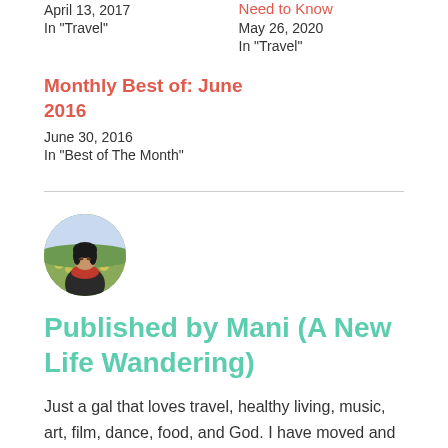April 13, 2017
In "Travel"
Need to Know
May 26, 2020
In "Travel"
Monthly Best of: June 2016
June 30, 2016
In "Best of The Month"
[Figure (photo): Circular avatar photo of a woman (Mani) standing in a field of yellow flowers, wearing a red scarf and dark jacket]
Published by Mani (A New Life Wandering)
Just a gal that loves travel, healthy living, music, art, film, dance, food, and God. I have moved and left